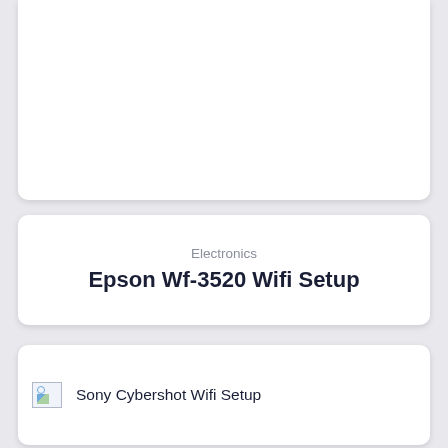Electronics
Epson Wf-3520 Wifi Setup
[Figure (other): Broken image icon placeholder]
Sony Cybershot Wifi Setup